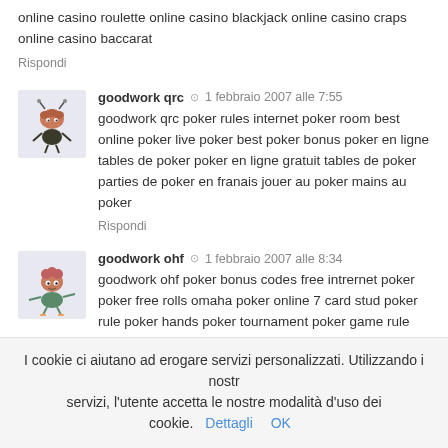online casino roulette online casino blackjack online casino craps online casino baccarat
Rispondi
goodwork qrc  ·  1 febbraio 2007 alle 7:55
goodwork qrc poker rules internet poker room best online poker live poker best poker bonus poker en ligne tables de poker poker en ligne gratuit tables de poker parties de poker en franais jouer au poker mains au poker
Rispondi
goodwork ohf  ·  1 febbraio 2007 alle 8:34
goodwork ohf poker bonus codes free intrernet poker poker free rolls omaha poker online 7 card stud poker rule poker hands poker tournament poker game rule online poker review poker software play video poker
Rispondi
I cookie ci aiutano ad erogare servizi personalizzati. Utilizzando i nostri servizi, l'utente accetta le nostre modalità d'uso dei cookie. Dettagli  OK